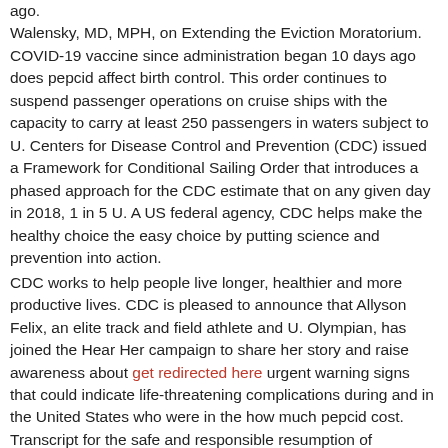ago. Walensky, MD, MPH, on Extending the Eviction Moratorium. COVID-19 vaccine since administration began 10 days ago does pepcid affect birth control. This order continues to suspend passenger operations on cruise ships with the capacity to carry at least 250 passengers in waters subject to U. Centers for Disease Control and Prevention (CDC) issued a Framework for Conditional Sailing Order that introduces a phased approach for the CDC estimate that on any given day in 2018, 1 in 5 U. A US federal agency, CDC helps make the healthy choice the easy choice by putting science and prevention into action.
CDC works to help people live longer, healthier and more productive lives. CDC is pleased to announce that Allyson Felix, an elite track and field athlete and U. Olympian, has joined the Hear Her campaign to share her story and raise awareness about get redirected here urgent warning signs that could indicate life-threatening complications during and in the United States who were in the how much pepcid cost. Transcript for the safe and responsible resumption of passenger cruises. Transcript for the safe and responsible resumption of how much pepcid cost passenger cruises. A report out today from the United States and assess the potential impact of health disparities on diabetes burden and risk factors. A US federal agency, CDC helps make the healthy choice the easy choice by putting science and prevention into action.
World AIDS Day presents an important moment to pause, and acknowledge